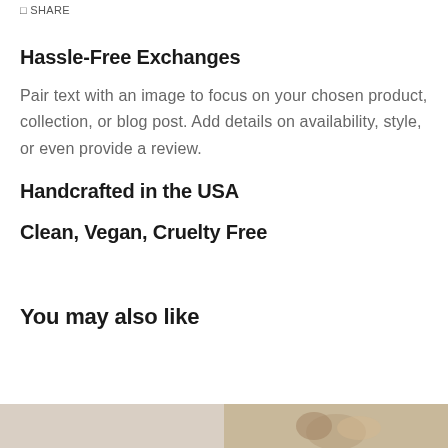SHARE
Hassle-Free Exchanges
Pair text with an image to focus on your chosen product, collection, or blog post. Add details on availability, style, or even provide a review.
Handcrafted in the USA
Clean, Vegan, Cruelty Free
You may also like
[Figure (photo): Two product thumbnail images at the bottom of the page, left image appears to be a light beige/cream color, right image shows a product with warm tones]